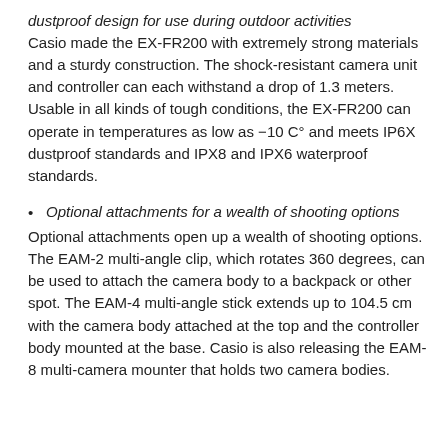dustproof design for use during outdoor activities
Casio made the EX-FR200 with extremely strong materials and a sturdy construction. The shock-resistant camera unit and controller can each withstand a drop of 1.3 meters. Usable in all kinds of tough conditions, the EX-FR200 can operate in temperatures as low as −10 C° and meets IP6X dustproof standards and IPX8 and IPX6 waterproof standards.
Optional attachments for a wealth of shooting options
Optional attachments open up a wealth of shooting options. The EAM-2 multi-angle clip, which rotates 360 degrees, can be used to attach the camera body to a backpack or other spot. The EAM-4 multi-angle stick extends up to 104.5 cm with the camera body attached at the top and the controller body mounted at the base. Casio is also releasing the EAM-8 multi-camera mounter that holds two camera bodies.